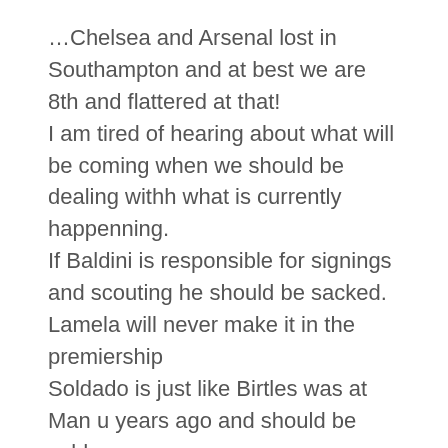…Chelsea and Arsenal lost in Southampton and at best we are 8th and flattered at that! I am tired of hearing about what will be coming when we should be dealing withh what is currently happenning. If Baldini is responsible for signings and scouting he should be sacked. Lamela will never make it in the premiership Soldado is just like Birtles was at Man u years ago and should be sold Dembele cant score Paulinho is the worst brazilian we were sold a pup Townsend for England lets you see how bad england are Lennon sold to Harry along with Adebayor Kaboul as captain is a joke Vertonghen poor attitude and will reveal